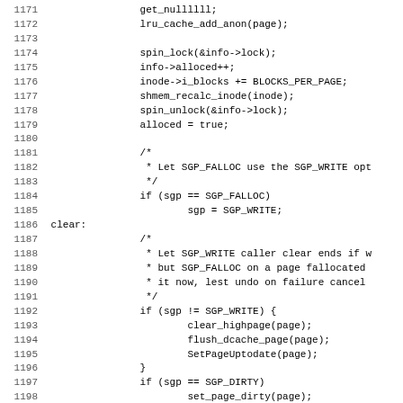[Figure (other): Source code listing (C) showing lines 1171-1203 of a Linux kernel file (shmem.c), featuring lru_cache_add_anon, spin_lock, inode block updates, SGP_FALLOC/SGP_WRITE/SGP_DIRTY logic, and page clearing routines.]